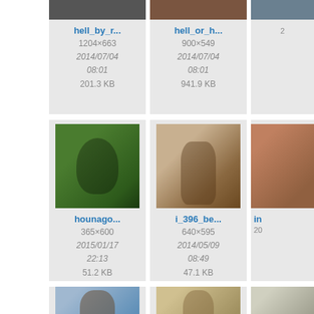[Figure (screenshot): Image file browser/gallery showing thumbnail cards with filenames, dimensions, dates, and file sizes. Cards visible: hell_by_r... (1204×663, 2014/07/04 08:01, 201.3 KB), hell_or_h... (900×549, 2014/07/04 08:01, 941.9 KB), hounago... (365×600, 2015/01/17 22:13, 51.2 KB), i_396_be... (640×595, 2014/05/09 08:49, 47.1 KB), plus partial cards, and two more cards at bottom partially visible.]